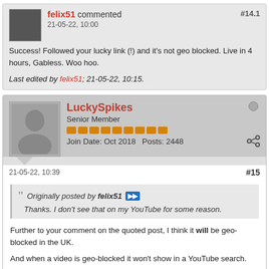felix51 commented #14.1
21-05-22, 10:00
Success! Followed your lucky link (!) and it's not geo blocked. Live in 4 hours, Gabless. Woo hoo.
Last edited by felix51; 21-05-22, 10:15.
LuckySpikes
Senior Member
Join Date: Oct 2018  Posts: 2448
21-05-22, 10:39
#15
Originally posted by felix51
Thanks. I don't see that on my YouTube for some reason.
Further to your comment on the quoted post, I think it will be geo-blocked in the UK.
And when a video is geo-blocked it won't show in a YouTube search.